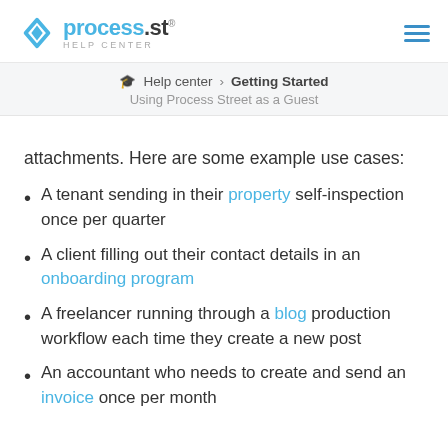process.st HELP CENTER
Help center > Getting Started — Using Process Street as a Guest
attachments. Here are some example use cases:
A tenant sending in their property self-inspection once per quarter
A client filling out their contact details in an onboarding program
A freelancer running through a blog production workflow each time they create a new post
An accountant who needs to create and send an invoice once per month